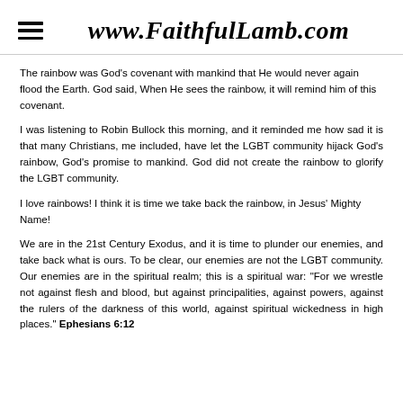www.FaithfulLamb.com
The rainbow was God's covenant with mankind that He would never again flood the Earth. God said, When He sees the rainbow, it will remind him of this covenant.
I was listening to Robin Bullock this morning, and it reminded me how sad it is that many Christians, me included, have let the LGBT community hijack God's rainbow, God's promise to mankind. God did not create the rainbow to glorify the LGBT community.
I love rainbows! I think it is time we take back the rainbow, in Jesus' Mighty Name!
We are in the 21st Century Exodus, and it is time to plunder our enemies, and take back what is ours. To be clear, our enemies are not the LGBT community. Our enemies are in the spiritual realm; this is a spiritual war: "For we wrestle not against flesh and blood, but against principalities, against powers, against the rulers of the darkness of this world, against spiritual wickedness in high places." Ephesians 6:12